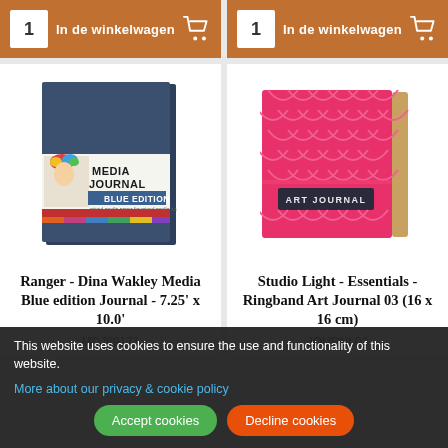[Figure (screenshot): Add to cart button with quantity 1 and shopping cart icon, brown/orange background - left product]
[Figure (screenshot): Add to cart button with quantity 1 and shopping cart icon, brown/orange background - right product]
[Figure (photo): Ranger - Dina Wakley Media Blue edition Journal - dark navy blue journal with colorful label band showing MEDIA JOURNAL BLUE EDITION]
[Figure (photo): Studio Light - Essentials - Ringband Art Journal 03 - pink patterned cover with ART JOURNAL label, with kraft colored pen holder]
Ranger - Dina Wakley Media Blue edition Journal - 7.25' x 10.0'
Studio Light - Essentials - Ringband Art Journal 03 (16 x 16 cm)
MDJ69171
JOURNL03
This website uses cookies to ensure the use and functionality of this website.
More about our privacy & cookie policy
Accept cookies
Decline cookies